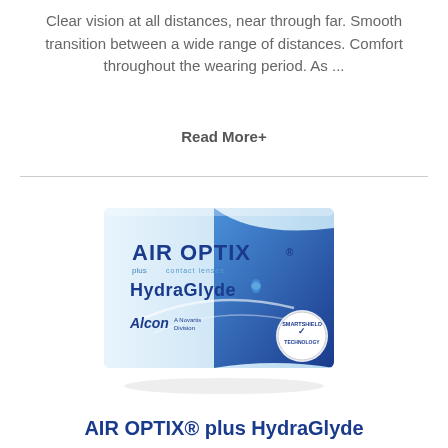Clear vision at all distances, near through far. Smooth transition between a wide range of distances. Comfort throughout the wearing period. As ...
Read More+
[Figure (photo): Product box of AIR OPTIX plus HydraGlyde contact lenses by Alcon, a Novartis Division. The box is light blue and white with the Alcon logo and a SMARTSHIELD TECHNOLOGY badge on the right side.]
AIR OPTIX® plus HydraGlyde